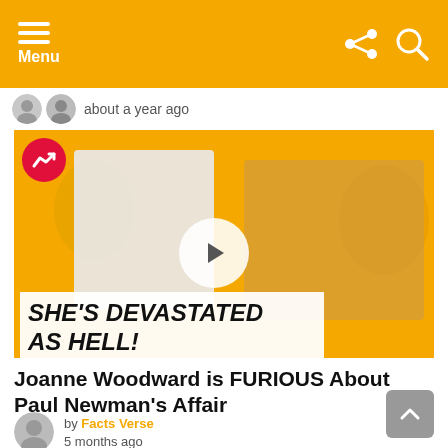Menu
about a year ago
[Figure (photo): Thumbnail image with text overlay 'SHE'S DEVASTATED AS HELL!' showing vintage celebrity photos on orange background with a play button]
Joanne Woodward is FURIOUS About Paul Newman's Affair
by Facts Verse 5 months ago